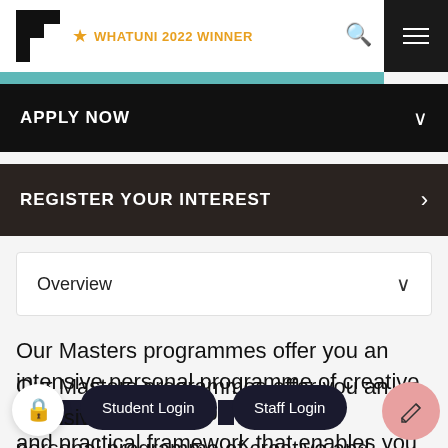WHATUNI 2022 WINNER
APPLY NOW
REGISTER YOUR INTEREST
Overview
Our Masters programmes offer you an intensive personal programme of creative and stimulating study, support, and practical framework that enables you to